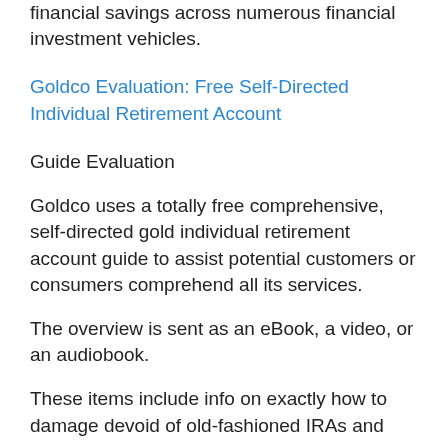financial savings across numerous financial investment vehicles.
Goldco Evaluation: Free Self-Directed Individual Retirement Account
Guide Evaluation
Goldco uses a totally free comprehensive, self-directed gold individual retirement account guide to assist potential customers or consumers comprehend all its services.
The overview is sent as an eBook, a video, or an audiobook.
These items include info on exactly how to damage devoid of old-fashioned IRAs and